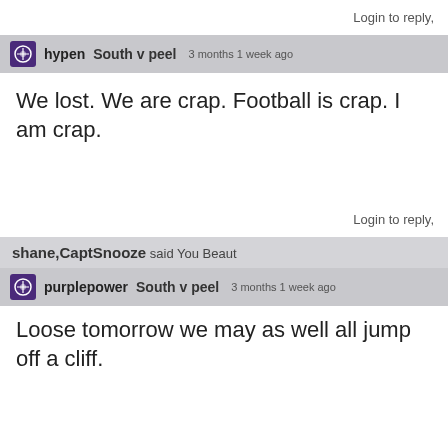Login to reply,
hypen  South v peel  3 months 1 week ago
We lost. We are crap. Football is crap. I am crap.
Login to reply,
shane,CaptSnooze said You Beaut
purplepower  South v peel  3 months 1 week ago
Loose tomorrow we may as well all jump off a cliff.